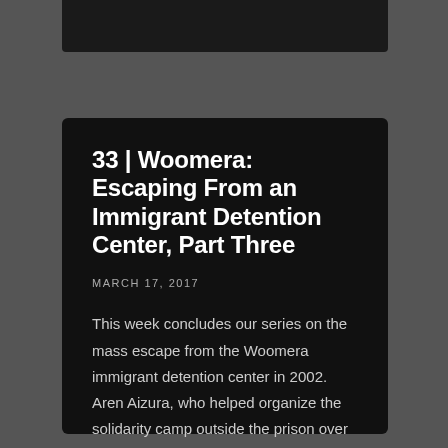33 | Woomera: Escaping From an Immigrant Detention Center, Part Three
MARCH 17, 2017
This week concludes our series on the mass escape from the Woomera immigrant detention center in 2002. Aren Aizura, who helped organize the solidarity camp outside the prison over